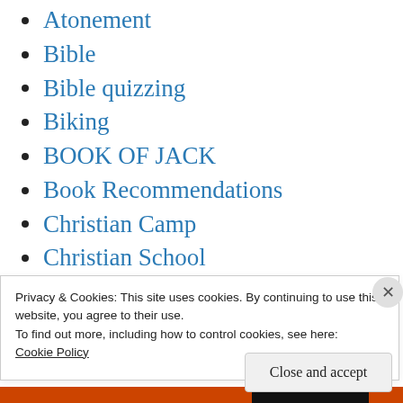Atonement
Bible
Bible quizzing
Biking
BOOK OF JACK
Book Recommendations
Christian Camp
Christian School
Church
Church as Entertainment
City Alight
Privacy & Cookies: This site uses cookies. By continuing to use this website, you agree to their use.
To find out more, including how to control cookies, see here:
Cookie Policy
Close and accept